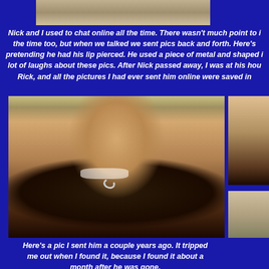[Figure (photo): Partial photo visible at top of page, cropped]
Nick and I used to chat online all the time.  There wasn't much point to i the time too, but when we talked we sent pics back and forth.  Here's pretending he had his lip pierced. He used a piece of metal and shaped i lot of laughs about these pics.  After Nick passed away, I was at his hou Rick, and all the pictures I had ever sent him online were saved in
[Figure (photo): Main photo of a young man laughing with a metal hook/ring on his lip, pretending to have a lip piercing]
[Figure (photo): Partial photo on right side, top portion]
[Figure (photo): Partial photo on right side, bottom portion, person with glasses]
Here's a pic I sent him a couple years ago.  It tripped me out when I found it, because I found it about a month after he was gone.